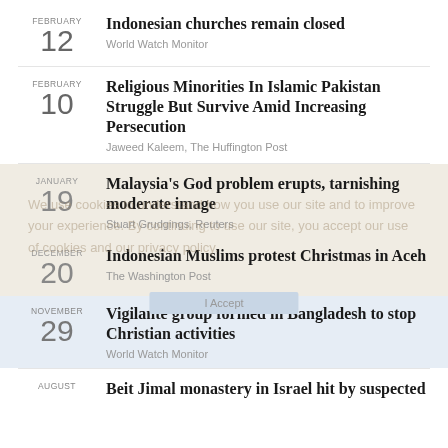FEBRUARY 12 | Indonesian churches remain closed | World Watch Monitor
FEBRUARY 10 | Religious Minorities In Islamic Pakistan Struggle But Survive Amid Increasing Persecution | Jaweed Kaleem, The Huffington Post
JANUARY 19 | Malaysia's God problem erupts, tarnishing moderate image | Stuart Grudgings, Reuters
DECEMBER 20 | Indonesian Muslims protest Christmas in Aceh | The Washington Post
NOVEMBER 29 | Vigilante group formed in Bangladesh to stop Christian activities | World Watch Monitor
AUGUST | Beit Jimal monastery in Israel hit by suspected